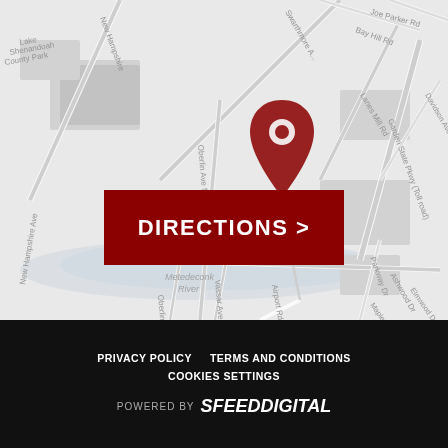[Figure (map): Street map showing Metedeconk River area with roads including New Hampshire Ave, Oberlin Ave N, Oberlin Ave S, Vassar Ave, Swarthmore Ave, Airport Rd, Bay Hill Rd, Lanes Mill Rd, Garden State Pkwy (Toll road), Davidson Ave, Parkway Dr, Ashwood Dr, Elmwood Dr, Maplewood Dr. A red location pin marker is shown above the Metedeconk River label. A dark red DIRECTIONS button is overlaid on the map.]
PRIVACY POLICY   TERMS AND CONDITIONS   COOKIES SETTINGS   POWERED BY SPEEDDIGITAL